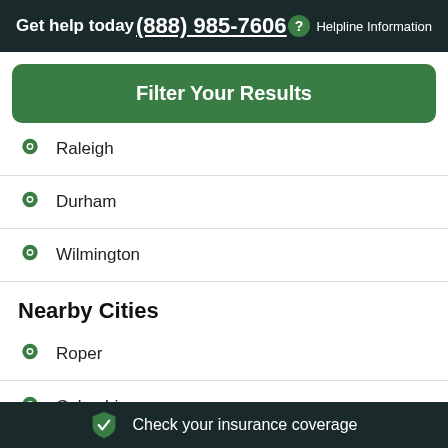Get help today  (888) 985-7606  Helpline Information
Filter Your Results
Raleigh
Durham
Wilmington
Nearby Cities
Roper
Columbia
Check your insurance coverage